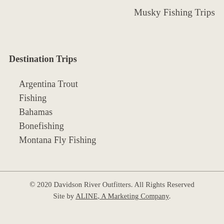Musky Fishing Trips
Destination Trips
Argentina Trout Fishing
Bahamas
Bonefishing
Montana Fly Fishing
© 2020 Davidson River Outfitters. All Rights Reserved Site by ALINE, A Marketing Company.